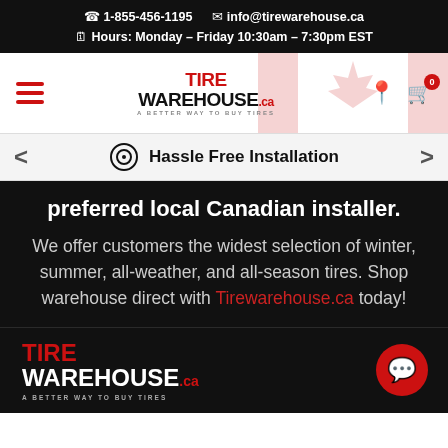☎ 1-855-456-1195  ✉ info@tirewarehouse.ca  Hours: Monday – Friday 10:30am – 7:30pm EST
[Figure (logo): Tire Warehouse logo with hamburger menu, Canadian flag background, location pin and cart icon with 0 badge]
Hassle Free Installation
preferred local Canadian installer.
We offer customers the widest selection of winter, summer, all-weather, and all-season tires. Shop warehouse direct with Tirewarehouse.ca today!
[Figure (logo): Tire Warehouse footer logo in white and red with tagline A BETTER WAY TO BUY TIRES, plus red chat button]